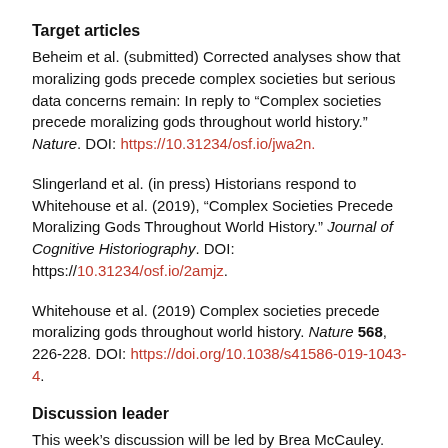Target articles
Beheim et al. (submitted) Corrected analyses show that moralizing gods precede complex societies but serious data concerns remain: In reply to “Complex societies precede moralizing gods throughout world history.” Nature. DOI: https://10.31234/osf.io/jwa2n.
Slingerland et al. (in press) Historians respond to Whitehouse et al. (2019), “Complex Societies Precede Moralizing Gods Throughout World History.” Journal of Cognitive Historiography. DOI: https://10.31234/osf.io/2amjz.
Whitehouse et al. (2019) Complex societies precede moralizing gods throughout world history. Nature 568, 226-228. DOI: https://doi.org/10.1038/s41586-019-1043-4.
Discussion leader
This week’s discussion will be led by Brea McCauley.